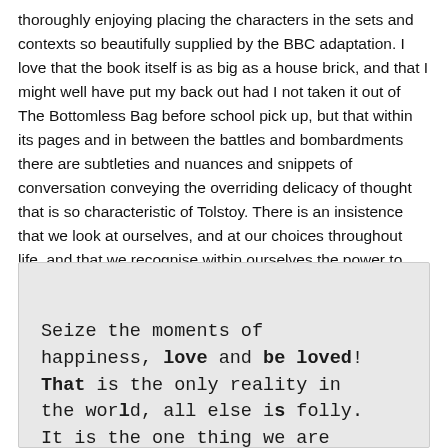thoroughly enjoying placing the characters in the sets and contexts so beautifully supplied by the BBC adaptation. I love that the book itself is as big as a house brick, and that I might well have put my back out had I not taken it out of The Bottomless Bag before school pick up, but that within its pages and in between the battles and bombardments there are subtleties and nuances and snippets of conversation conveying the overriding delicacy of thought that is so characteristic of Tolstoy. There is an insistence that we look at ourselves, and at our choices throughout life, and that we recognise within ourselves the power to forgive, to love, and to be happy.
[Figure (photo): A photograph of a typewritten or printed quote reading: 'Seize the moments of happiness, love and be loved! That is the only reality in the world, all else is folly. It is the one thing we are' — text is cut off at the bottom. The text appears on a slightly aged, light grey paper background.]